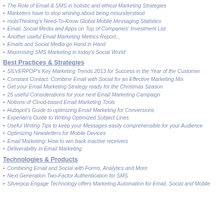The Role of Email & SMS in holistic and ethical Marketing Strategies
Marketers have to stop whining about being misunderstood
mobiThinking's Need-To-Know Global Mobile Messaging Statistics
Email, Social Media and Apps on Top of Companies' Investment List
Another useful Email Marketing Metrics Report...
Emails and Social Media go Hand in Hand
Maximising SMS Marketing in today's Social World
Best Practices & Strategies
SILVERPOP's Key Marketing Trends 2013 for Success in the Year of the Customer
Constant Contact: Combine Email with Social for an Effective Marketing Mix
Get your Email Marketing Strategy ready for the Christmas Season
25 useful Considerations for your next Email Marketing Campaign
Notions of Cloud-based Email Marketing Tools
Hubspot's Guide to optimizing Email Marketing for Conversions
Experian's Guide to Writing Optimized Subject Lines
Useful Writing Tips to keep your Messages easily comprehensible for your Audience
Optimizing Newsletters for Mobile Devices
Email Marketing: How to win back inactive receivers
Deliverability in Email Marketing
Technologies & Products
Combining Email and Social with Forms, Analytics and More
Next Generation Two-Factor Authentication for SMS
Silverpop Engage Technology offers Marketing Automation for Email, Social and Mobile